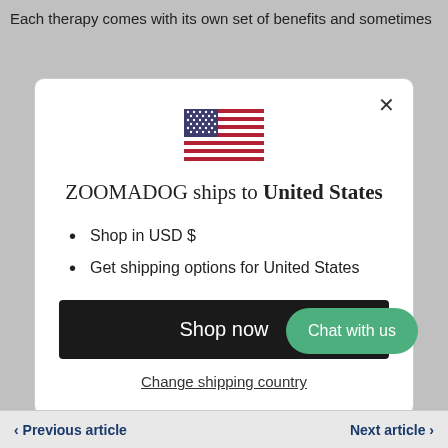Each therapy comes with its own set of benefits and sometimes
[Figure (screenshot): A modal dialog box on a website. It shows a US flag at the top, text 'ZOOMADOG ships to United States', bullet points 'Shop in USD $' and 'Get shipping options for United States', a black 'Shop now' button, and a 'Change shipping country' link.]
Chat with us
< Previous article    Next article >